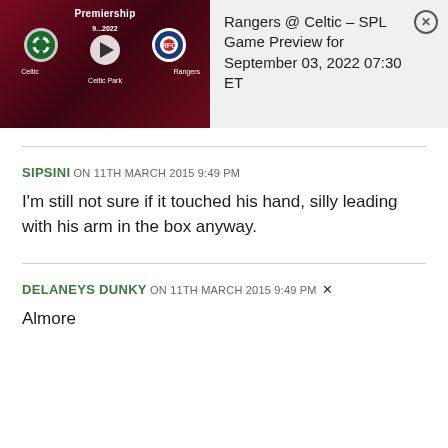[Figure (screenshot): Sports game preview banner showing Celtic vs Rangers Premiership match thumbnail on left with dark red background, play button, club badges, 'Celtic Park' venue label, and '9...2022' date. Right side shows text about the game preview.]
Rangers @ Celtic – SPL Game Preview for September 03, 2022 07:30 ET
SIPSINI on 11TH MARCH 2015 9:49 PM
I'm still not sure if it touched his hand, silly leading with his arm in the box anyway.
DELANEYS DUNKY on 11TH MARCH 2015 9:49 PM
Almore